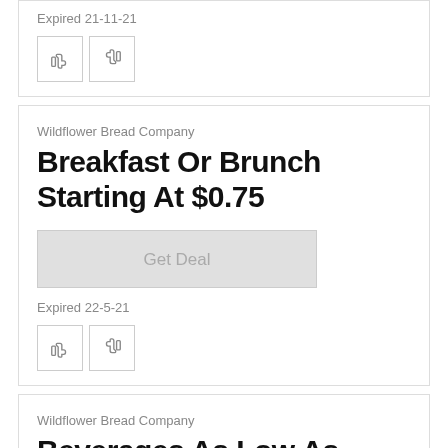Expired 21-11-21
[Figure (other): Thumbs down and thumbs up icon buttons]
Wildflower Bread Company
Breakfast Or Brunch Starting At $0.75
[Figure (other): Get Deal button]
Expired 22-5-21
[Figure (other): Thumbs down and thumbs up icon buttons]
Wildflower Bread Company
Beverages As Low As $1.59 Wildflower Bread Company
[Figure (other): Get Deal button]
Expired 21-11-21